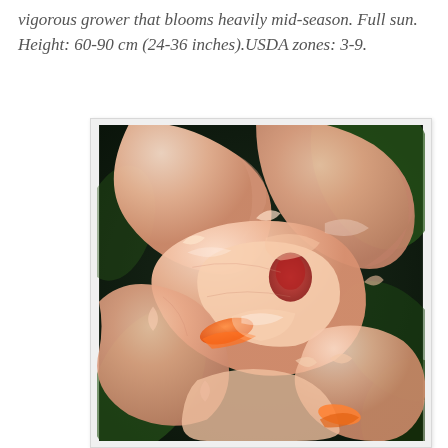vigorous grower that blooms heavily mid-season. Full sun. Height: 60-90 cm (24-36 inches).USDA zones: 3-9.
[Figure (photo): Close-up photograph of a peach/salmon-colored bearded iris flower with ruffled petals, showing orange beard details, against a dark green background.]